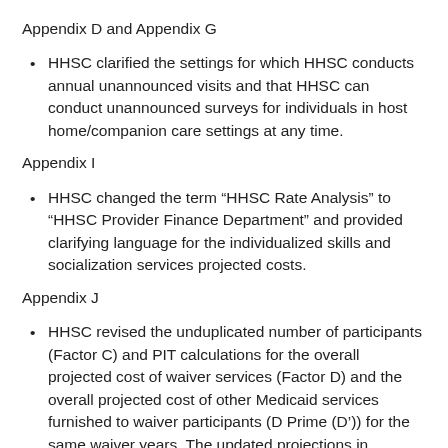Appendix D and Appendix G
HHSC clarified the settings for which HHSC conducts annual unannounced visits and that HHSC can conduct unannounced surveys for individuals in host home/companion care settings at any time.
Appendix I
HHSC changed the term “HHSC Rate Analysis” to “HHSC Provider Finance Department” and provided clarifying language for the individualized skills and socialization services projected costs.
Appendix J
HHSC revised the unduplicated number of participants (Factor C) and PIT calculations for the overall projected cost of waiver services (Factor D) and the overall projected cost of other Medicaid services furnished to waiver participants (D Prime (D’)) for the same waiver years. The updated projections in appendix J also include the addition of the individualized skills and socialization service and updated projections to discontinue day habilitation after waiver year (WY) 5 to comply